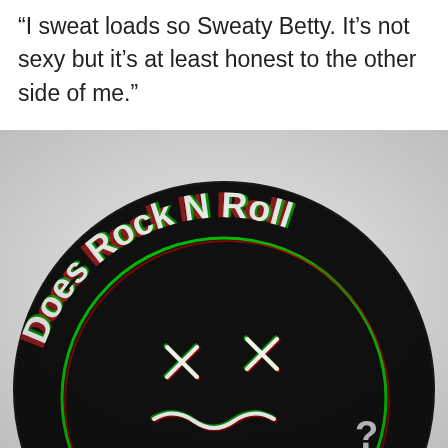“I sweat loads so Sweaty Betty. It’s not sexy but it’s at least honest to the other side of me.”
[Figure (photo): A close-up photo of a round black badge/pin. Around the top arc of the badge, in white and green text, it reads 'Does Rock N Roll'. In the center is a Nirvana-style smiley face with X eyes and a wavy mouth, rendered in white with red/green chromatic aberration effect. The bottom of the badge is partially cut off, showing what appears to be a question mark.]